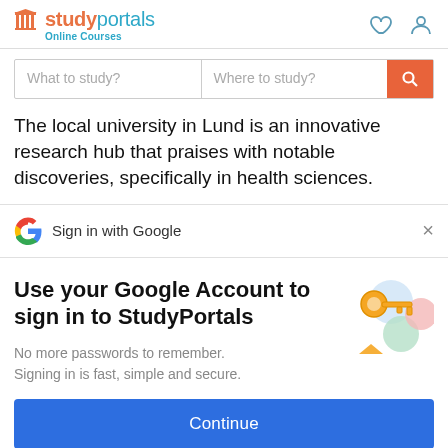studyportals Online Courses
What to study? | Where to study?
The local university in Lund is an innovative research hub that praises with notable discoveries, specifically in health sciences.
Sign in with Google
Use your Google Account to sign in to StudyPortals
No more passwords to remember.
Signing in is fast, simple and secure.
Continue